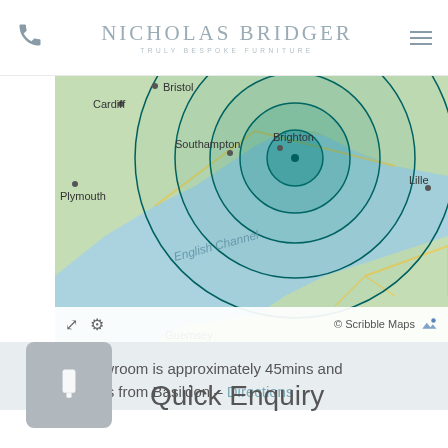Nicholas Bridger — Truly Bespoke Furniture
[Figure (map): Map of southern England and northern France showing concentric distance circles centered near Brighton/Sussex. Cities labeled include Cardiff, Bristol, Southampton, Brighton, Plymouth, Lille. The English Channel is labeled. Map attributed to Scribble Maps.]
Our showroom is approximately 45mins and 38.5miles from Basildon – Directions
Quick Enquiry